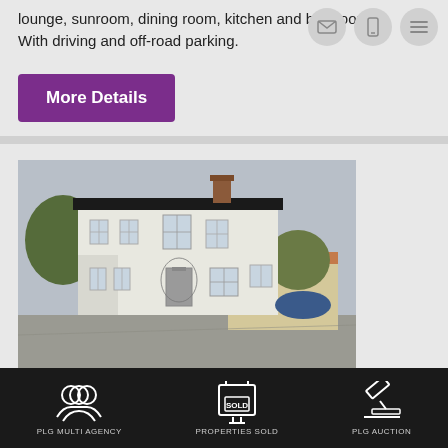lounge, sunroom, dining room, kitchen and bathroom. With driving and off-road parking.
More Details
[Figure (photo): Exterior photo of a large white two-storey house with black roof, chimney, sash windows, and a road in the foreground. Trees and another building visible in the background.]
PLG MULTI AGENCY   PROPERTIES SOLD   PLG AUCTION